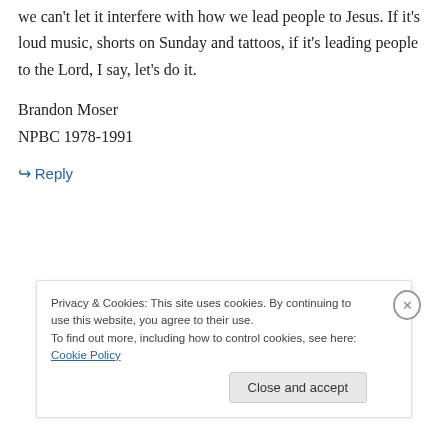we can't let it interfere with how we lead people to Jesus. If it's loud music, shorts on Sunday and tattoos, if it's leading people to the Lord, I say, let's do it.
Brandon Moser
NPBC 1978-1991
↳ Reply
Privacy & Cookies: This site uses cookies. By continuing to use this website, you agree to their use.
To find out more, including how to control cookies, see here: Cookie Policy